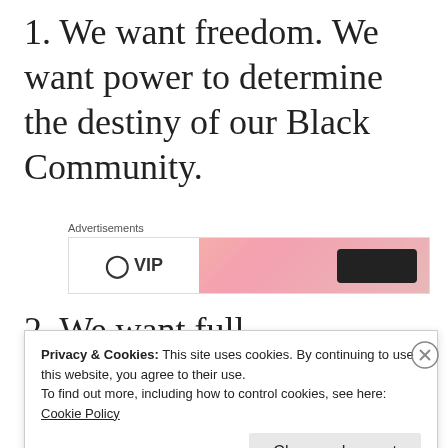1. We want freedom. We want power to determine the destiny of our Black Community.
[Figure (other): Advertisement banner with orange/pink gradient background, a circular logo icon on the left white section with 'VIP' text, and a dark button on the right.]
2. We want full employment for our
Privacy & Cookies: This site uses cookies. By continuing to use this website, you agree to their use.
To find out more, including how to control cookies, see here: Cookie Policy
Close and accept